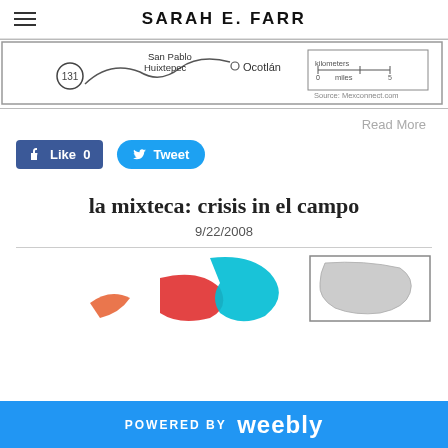SARAH E. FARR
[Figure (map): Map showing San Pablo Huixtepec, Ocotlán, route 131, with scale bar and source: Mexconnect.com]
Read More
[Figure (other): Facebook Like button (0 likes) and Tweet button]
la mixteca: crisis in el campo
9/22/2008
[Figure (map): Colorful map of Mexican region la Mixteca with inset map of Mexico]
POWERED BY weebly